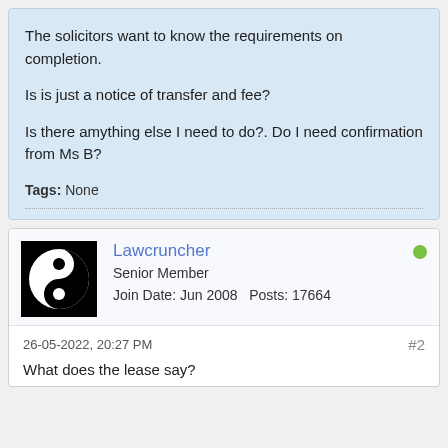The solicitors want to know the requirements on completion.
Is is just a notice of transfer and fee?
Is there amything else I need to do?. Do I need confirmation from Ms B?
Tags: None
Lawcruncher
Senior Member
Join Date: Jun 2008   Posts: 17664
26-05-2022, 20:27 PM   #2
What does the lease say?